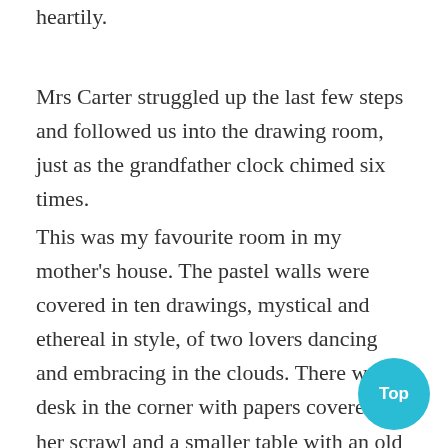heartily.
Mrs Carter struggled up the last few steps and followed us into the drawing room, just as the grandfather clock chimed six times.
This was my favourite room in my mother's house. The pastel walls were covered in ten drawings, mystical and ethereal in style, of two lovers dancing and embracing in the clouds. There was a desk in the corner with papers covered in her scrawl and a smaller table with an old King James and a well-thumbed Hebrew lexicon. A writer's chair stood proudly in the centre of the room, its armrests lon and wide enough for books and pamphlets to be r